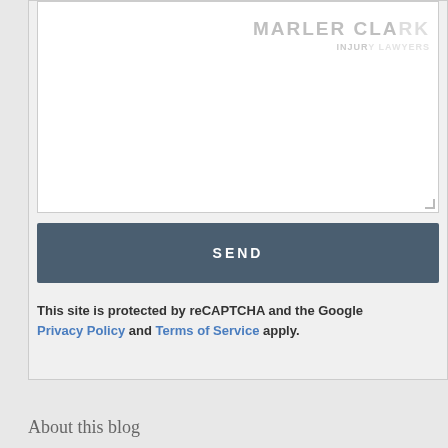[Figure (screenshot): A web contact form showing a large textarea (white input box) with a watermark logo reading 'MARLER CLARK' and subtitle text, a Send button in dark slate blue with white text 'SEND', and a reCAPTCHA notice below the button.]
This site is protected by reCAPTCHA and the Google Privacy Policy and Terms of Service apply.
About this blog